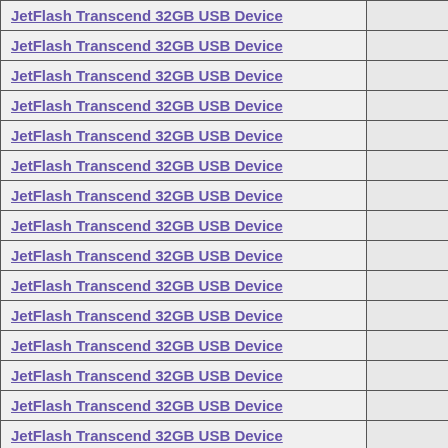| Name |  |
| --- | --- |
| JetFlash Transcend 32GB USB Device |  |
| JetFlash Transcend 32GB USB Device |  |
| JetFlash Transcend 32GB USB Device |  |
| JetFlash Transcend 32GB USB Device |  |
| JetFlash Transcend 32GB USB Device |  |
| JetFlash Transcend 32GB USB Device |  |
| JetFlash Transcend 32GB USB Device |  |
| JetFlash Transcend 32GB USB Device |  |
| JetFlash Transcend 32GB USB Device |  |
| JetFlash Transcend 32GB USB Device |  |
| JetFlash Transcend 32GB USB Device |  |
| JetFlash Transcend 32GB USB Device |  |
| JetFlash Transcend 32GB USB Device |  |
| JetFlash Transcend 32GB USB Device |  |
| JetFlash Transcend 32GB USB Device |  |
| JetFlash Transcend 32GB USB Device |  |